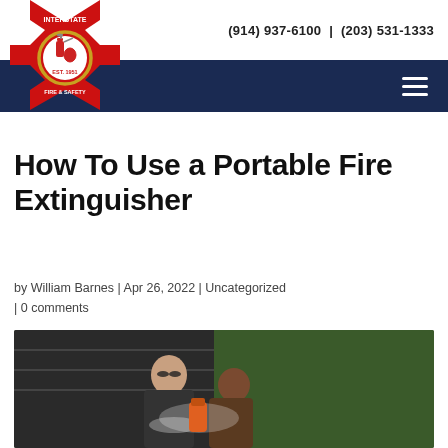(914) 937-6100  |  (203) 531-1333
[Figure (logo): Interstate Fire & Safety logo — red maltese cross with fire extinguisher emblem, EST. 1951]
How To Use a Portable Fire Extinguisher
by William Barnes | Apr 26, 2022 | Uncategorized | 0 comments
[Figure (photo): Two people using a fire extinguisher outdoors, water/foam spraying, green foliage in background]